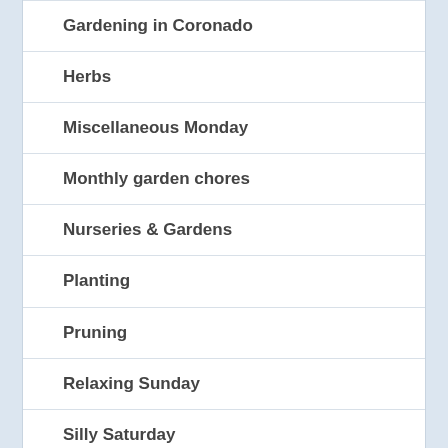Gardening in Coronado
Herbs
Miscellaneous Monday
Monthly garden chores
Nurseries & Gardens
Planting
Pruning
Relaxing Sunday
Silly Saturday